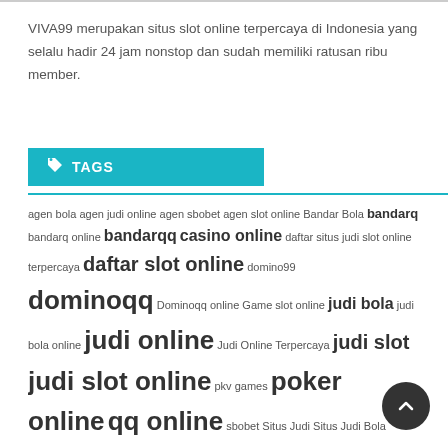VIVA99 merupakan situs slot online terpercaya di Indonesia yang selalu hadir 24 jam nonstop dan sudah memiliki ratusan ribu member.
TAGS
agen bola agen judi online agen sbobet agen slot online Bandar Bola bandarq bandarq online bandarqq casino online daftar situs judi slot online terpercaya daftar slot online domino99 dominoqq Dominoqq online Game slot online judi bola judi bola online judi online Judi Online Terpercaya judi slot judi slot online pkv games poker online qq online sbobet Situs Judi Situs Judi Bola situs judi online situs judi online terpercaya situs judi qq online terpercaya situs judi slot situs judi slot online situs judi slot online terpercaya situs poker online situs